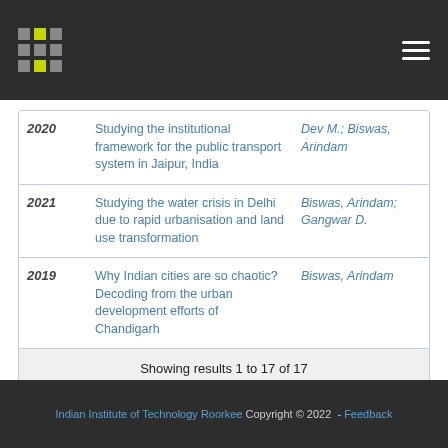IIT Roorkee repository header with logo and navigation
| Year | Title | Authors |
| --- | --- | --- |
| 2020 | Studying the institutional framework for the public transport system in Jaipur, India | Dev M.; Biswas, Arindam |
| 2021 | Studying the water crisis in Delhi due to rapid urbanisation and land use transformation | Biswas, Arindam; Gangwar D. |
| 2019 | Why Indian cities are so chaotic? Decoding from the urban development efforts of Chandigarh | Biswas, Arindam |
|  | Showing results 1 to 17 of 17 |  |
Indian Institute of Technology Roorkee Copyright © 2022  - Feedback